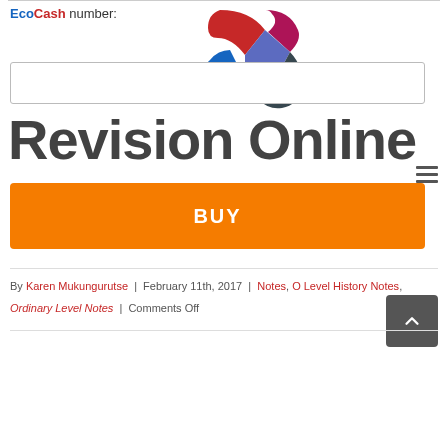EcoCash number:
[Figure (logo): Revision Online logo — colored geometric shapes (red, purple, blue) forming stylized letters RC]
Revision Online
BUY
By Karen Mukungurutse | February 11th, 2017 | Notes, O Level History Notes, Ordinary Level Notes | Comments Off